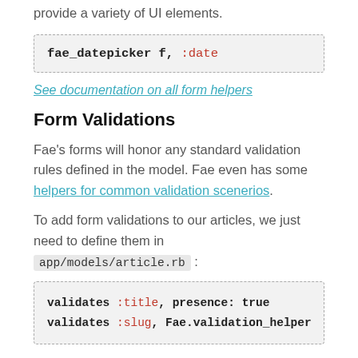provide a variety of UI elements.
[Figure (screenshot): Code block: fae_datepicker f, :date]
See documentation on all form helpers
Form Validations
Fae's forms will honor any standard validation rules defined in the model. Fae even has some helpers for common validation scenerios.
To add form validations to our articles, we just need to define them in app/models/article.rb :
[Figure (screenshot): Code block: validates :title, presence: true
validates :slug, Fae.validation_helper]